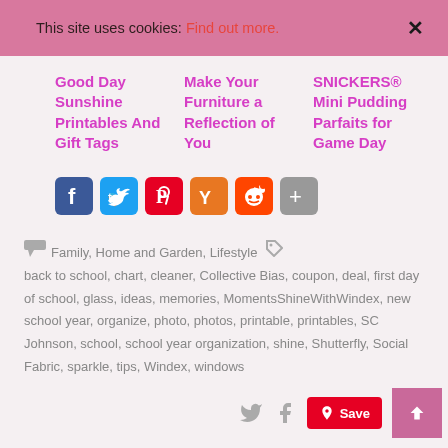This site uses cookies: Find out more.
Good Day Sunshine Printables And Gift Tags
Make Your Furniture a Reflection of You
SNICKERS® Mini Pudding Parfaits for Game Day
[Figure (other): Social sharing icons: Facebook, Twitter, Pinterest, Yummly, Reddit, Share (plus)]
Family, Home and Garden, Lifestyle   back to school, chart, cleaner, Collective Bias, coupon, deal, first day of school, glass, ideas, memories, MomentsShineWithWindex, new school year, organize, photo, photos, printable, printables, SC Johnson, school, school year organization, shine, Shutterfly, Social Fabric, sparkle, tips, Windex, windows
Save  ▲